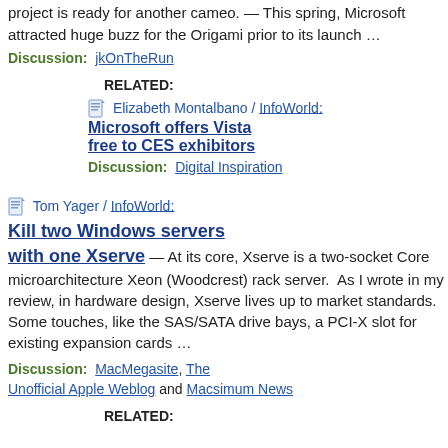project is ready for another cameo. — This spring, Microsoft attracted huge buzz for the Origami prior to its launch …
Discussion: jkOnTheRun
RELATED:
Elizabeth Montalbano / InfoWorld: Microsoft offers Vista free to CES exhibitors
Discussion: Digital Inspiration
Tom Yager / InfoWorld: Kill two Windows servers with one Xserve — At its core, Xserve is a two-socket Core microarchitecture Xeon (Woodcrest) rack server. As I wrote in my review, in hardware design, Xserve lives up to market standards. Some touches, like the SAS/SATA drive bays, a PCI-X slot for existing expansion cards …
Discussion: MacMegasite, The Unofficial Apple Weblog and Macsimum News
RELATED: